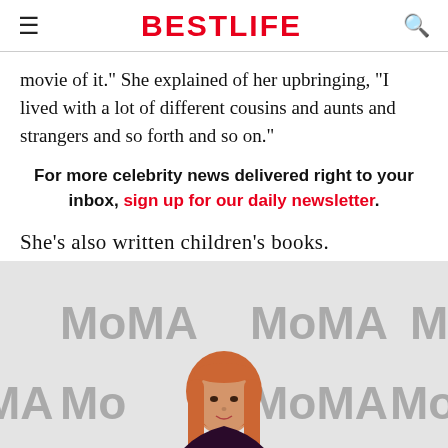BESTLIFE
movie of it." She explained of her upbringing, "I lived with a lot of different cousins and aunts and strangers and so forth and so on."
For more celebrity news delivered right to your inbox, sign up for our daily newsletter.
She's also written children's books.
[Figure (photo): Woman with orange-red hair standing in front of a MoMA step-and-repeat backdrop]